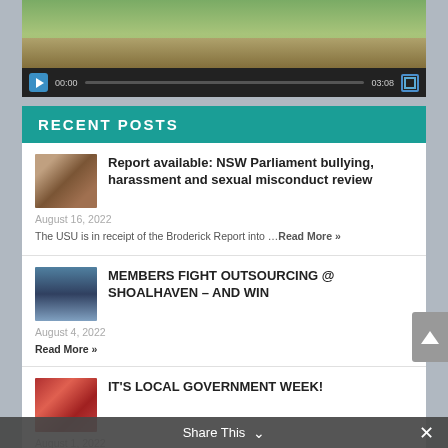[Figure (screenshot): Video player with controls showing 00:00 / 03:08, play button, progress bar, and fullscreen button. Video thumbnail shows a person against a green background.]
RECENT POSTS
Report available: NSW Parliament bullying, harassment and sexual misconduct review
August 16, 2022
The USU is in receipt of the Broderick Report into … Read More »
MEMBERS FIGHT OUTSOURCING @ SHOALHAVEN – AND WIN
August 4, 2022
Read More »
IT'S LOCAL GOVERNMENT WEEK!
August 1, 2022
Share This